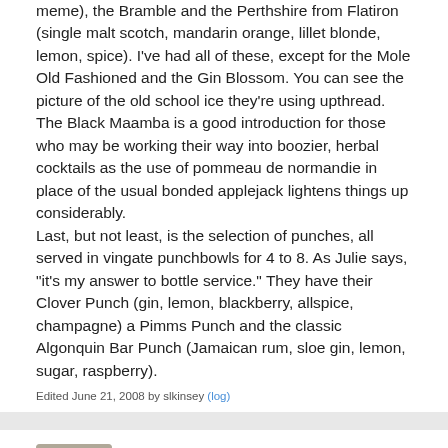meme), the Bramble and the Perthshire from Flatiron (single malt scotch, mandarin orange, lillet blonde, lemon, spice). I've had all of these, except for the Mole Old Fashioned and the Gin Blossom. You can see the picture of the old school ice they're using upthread. The Black Maamba is a good introduction for those who may be working their way into boozier, herbal cocktails as the use of pommeau de normandie in place of the usual bonded applejack lightens things up considerably.
Last, but not least, is the selection of punches, all served in vingate punchbowls for 4 to 8. As Julie says, "it's my answer to bottle service." They have their Clover Punch (gin, lemon, blackberry, allspice, champagne) a Pimms Punch and the classic Algonquin Bar Punch (Jamaican rum, sloe gin, lemon, sugar, raspberry).
Edited June 21, 2008 by slkinsey (log)
Chris Amirault
Posted June 20, 2008
What are the (plans for) house bitters, if any?